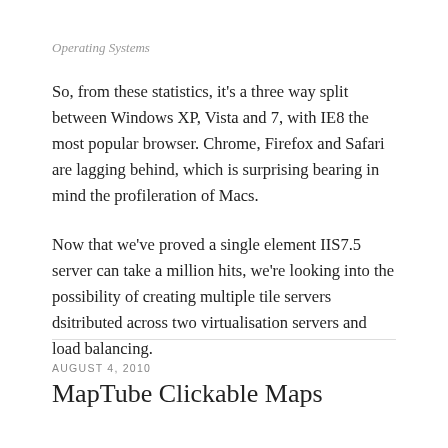Operating Systems
So, from these statistics, it's a three way split between Windows XP, Vista and 7, with IE8 the most popular browser. Chrome, Firefox and Safari are lagging behind, which is surprising bearing in mind the profileration of Macs.
Now that we've proved a single element IIS7.5 server can take a million hits, we're looking into the possibility of creating multiple tile servers dsitributed across two virtualisation servers and load balancing.
AUGUST 4, 2010
MapTube Clickable Maps